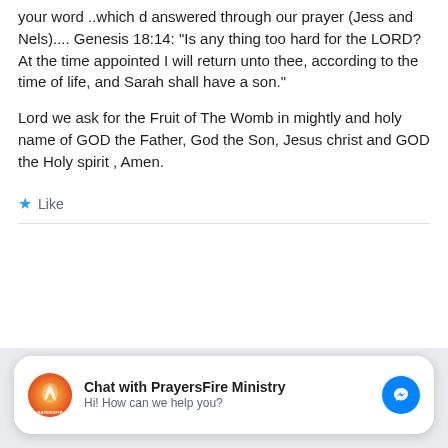your word ..which d answered through our prayer (Jess and Nels).... Genesis 18:14: “Is any thing too hard for the LORD? At the time appointed I will return unto thee, according to the time of life, and Sarah shall have a son.”
Lord we ask for the Fruit of The Womb in mightly and holy name of GOD the Father, God the Son, Jesus christ and GOD the Holy spirit , Amen.
★ Like
Chat with PrayersFire Ministry
Hi! How can we help you?